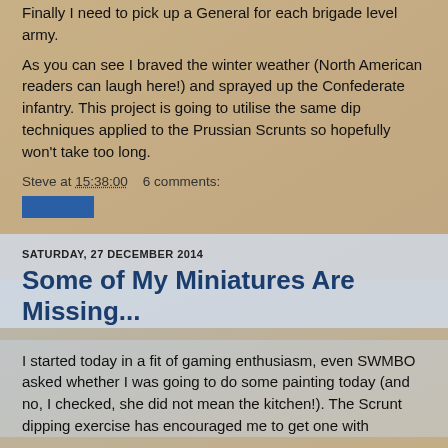some dismounted figures and some horse holders.
Finally I need to pick up a General for each brigade level army.
As you can see I braved the winter weather (North American readers can laugh here!) and sprayed up the Confederate infantry. This project is going to utilise the same dip techniques applied to the Prussian Scrunts so hopefully won't take too long.
Steve at 15:38:00   6 comments:
[Figure (other): Blue button/widget element]
SATURDAY, 27 DECEMBER 2014
Some of My Miniatures Are Missing...
I started today in a fit of gaming enthusiasm, even SWMBO asked whether I was going to do some painting today (and no, I checked, she did not mean the kitchen!). The Scrunt dipping exercise has encouraged me to get one with